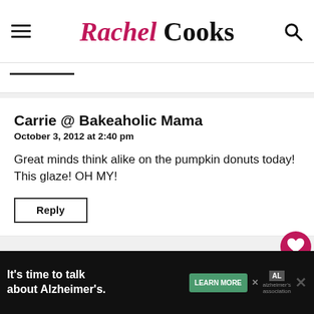Rachel Cooks
Carrie @ Bakeaholic Mama
October 3, 2012 at 2:40 pm
Great minds think alike on the pumpkin donuts today! This glaze! OH MY!
Reply
Nik@ABrownTable
October 3, 2012 at 2:21 pm
How fun, these fall doughnuts look amazing!
It’s time to talk about Alzheimer’s. LEARN MORE